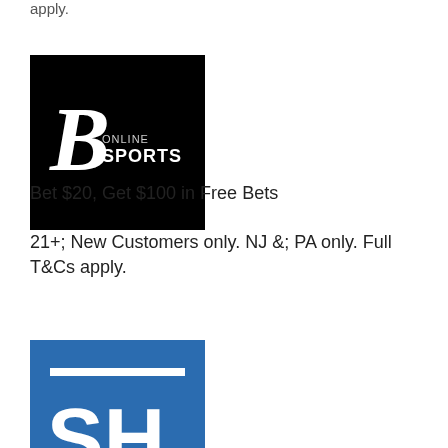apply.
[Figure (logo): Bwin Online Sports logo — black square background with stylized 'B' and text 'ONLINE SPORTS' in white]
Bet $20, Get $100 in Free Bets
21+; New Customers only. NJ &; PA only. Full T&Cs apply.
[Figure (logo): SH logo — blue square with white horizontal lines and large 'SH' letters in white]